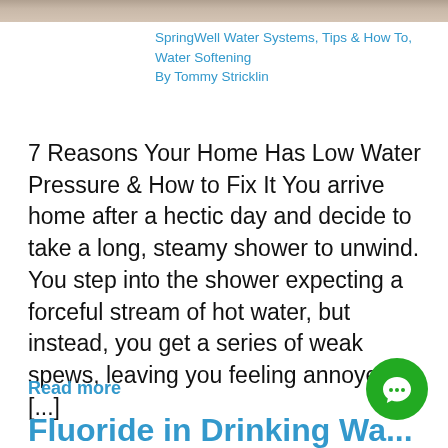[Figure (photo): Partial top image of a bathroom or water-related scene, cropped at top of page]
SpringWell Water Systems, Tips & How To, Water Softening
By Tommy Stricklin
7 Reasons Your Home Has Low Water Pressure & How to Fix It You arrive home after a hectic day and decide to take a long, steamy shower to unwind. You step into the shower expecting a forceful stream of hot water, but instead, you get a series of weak spews, leaving you feeling annoyed [...]
Read more
[Figure (other): Green circular chat/messenger button with white speech bubble icon]
Fluoride in Drinking Wa...